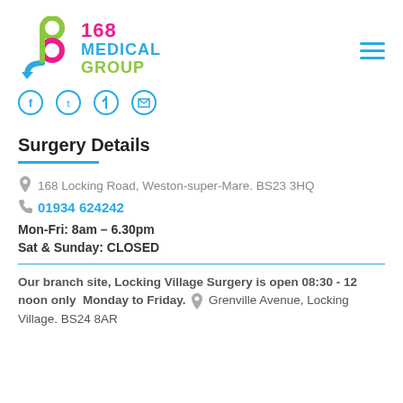[Figure (logo): 168 Medical Group logo with stylized 168 numerals in green, pink, and blue, followed by text '168 MEDICAL GROUP']
[Figure (illustration): Social media icons row: Facebook, Twitter, Pinterest, LinkedIn in blue outline style]
Surgery Details
168 Locking Road, Weston-super-Mare. BS23 3HQ
01934 624242
Mon-Fri: 8am – 6.30pm
Sat & Sunday: CLOSED
Our branch site, Locking Village Surgery is open 08:30 - 12 noon only  Monday to Friday.  Grenville Avenue, Locking Village. BS24 8AR